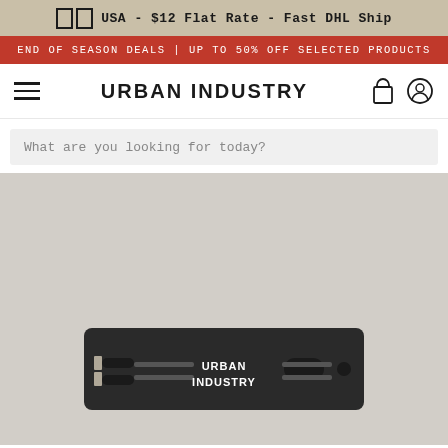USA - $12 Flat Rate - Fast DHL Ship
END OF SEASON DEALS | UP TO 50% OFF SELECTED PRODUCTS
URBAN INDUSTRY
What are you looking for today?
[Figure (photo): A dark grey/black shoelace card product labeled 'URBAN INDUSTRY' with shoe laces threaded through slots, photographed on a light grey background.]